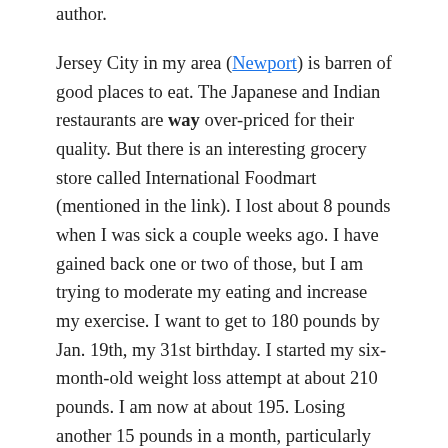author.

Jersey City in my area (Newport) is barren of good places to eat. The Japanese and Indian restaurants are way over-priced for their quality. But there is an interesting grocery store called International Foodmart (mentioned in the link). I lost about 8 pounds when I was sick a couple weeks ago. I have gained back one or two of those, but I am trying to moderate my eating and increase my exercise. I want to get to 180 pounds by Jan. 19th, my 31st birthday. I started my six-month-old weight loss attempt at about 210 pounds. I am now at about 195. Losing another 15 pounds in a month, particularly the Christmas/new years season is going to be tough! I've become very moderate in my breakfasts, and usually very moderate in my suppers, but I'm still having trouble with lunches. There's a food court nearby my Jersey City apartment that has a Panda Express – I love orange chicken way too much 🙂 Well, tonight I'm going to go to the gym and do some running so I'll burn a few Calories there,